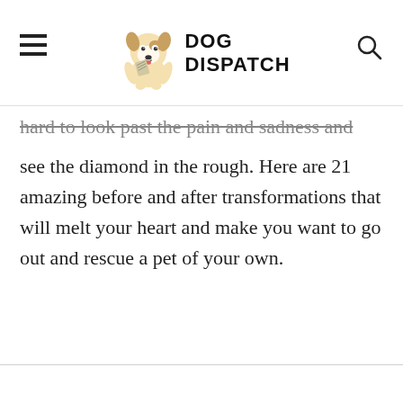DOG DISPATCH
hard to look past the pain and sadness and see the diamond in the rough. Here are 21 amazing before and after transformations that will melt your heart and make you want to go out and rescue a pet of your own.